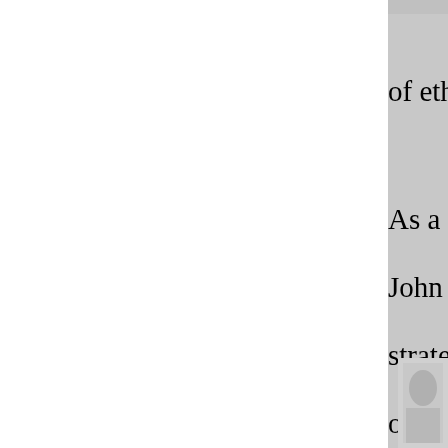of ethnic violence and the conditions ar
As a defense policy advisor to the Briti John Gearson has had major responsibi strategies. He is currently preparing a s oversight of British security policy. Ma resulting from the immigration of large colonies. Gearson will discuss how sec many of these groups have found their have reacted in violent ways to seeming
Andre de Mello e Souza has written and taught extensively on issues of globalization, human rights and security in Latin
[Figure (photo): Partial photo of a person, visible in bottom-right corner of page]